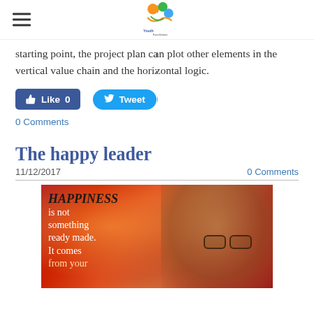[Logo and hamburger menu]
starting point, the project plan can plot other elements in the vertical value chain and the horizontal logic.
[Figure (infographic): Facebook Like button showing 0 likes and a Twitter Tweet button]
0 Comments
The happy leader
11/12/2017
0 Comments
[Figure (photo): Photo of the Dalai Lama smiling against a red/orange blurred background, with a quote overlay reading: HAPPINESS is not something ready made. It comes from your]